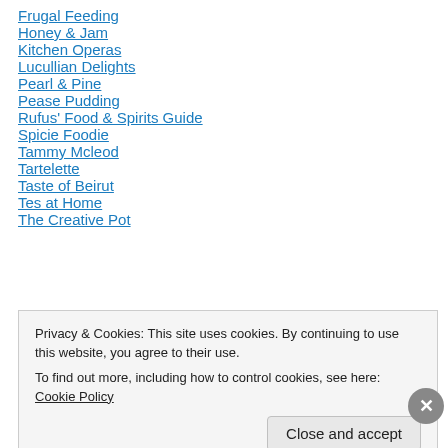Frugal Feeding
Honey & Jam
Kitchen Operas
Lucullian Delights
Pearl & Pine
Pease Pudding
Rufus' Food & Spirits Guide
Spicie Foodie
Tammy Mcleod
Tartelette
Taste of Beirut
Tes at Home
The Creative Pot
Privacy & Cookies: This site uses cookies. By continuing to use this website, you agree to their use. To find out more, including how to control cookies, see here: Cookie Policy
Close and accept